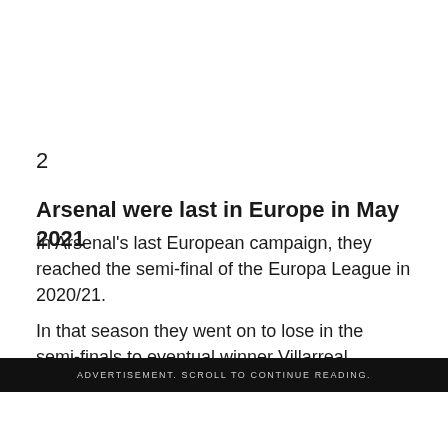2
Arsenal were last in Europe in May 2021
In Arsenal's last European campaign, they reached the semi-final of the Europa League in 2020/21.
In that season they went on to lose in the semi-finals to eventual winner Villarreal.
ADVERTISEMENT. SCROLL TO CONTINUE READING.